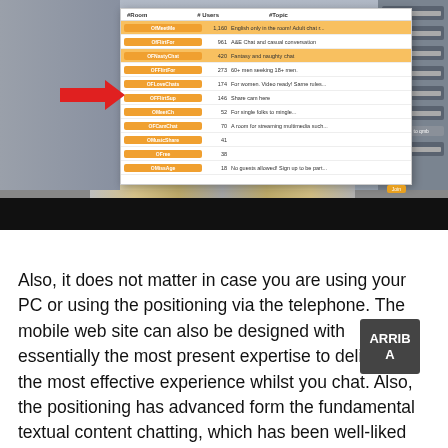[Figure (screenshot): Screenshot of a web chat interface showing a popup/modal with a list of chat categories (orange tags with names), counts, and descriptions. A red arrow points to one of the highlighted rows. Right sidebar shows user avatars. Bottom portion shows a black bar.]
Also, it does not matter in case you are using your PC or using the positioning via the telephone. The mobile web site can also be designed with essentially the most present expertise to deliver you the most effective experience whilst you chat. Also, the positioning has advanced form the fundamental textual content chatting, which has been well-liked since the rise of the internet. Also, this is probably certainly one of the most consumer pleasant websites obtainable out there. However,